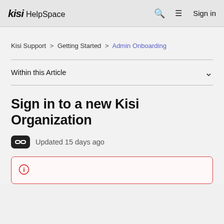kisi HelpSpace   🔍  ≡  Sign in
Kisi Support > Getting Started > Admin Onboarding
Within this Article
Sign in to a new Kisi Organization
Updated 15 days ago